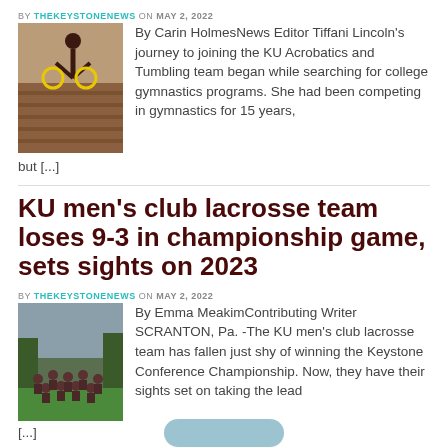BY THEKEYSTONENEWS ON MAY 2, 2022
[Figure (photo): Gymnast performing on bars or beam in a gymnasium setting]
By Carin HolmesNews Editor Tiffani Lincoln's journey to joining the KU Acrobatics and Tumbling team began while searching for college gymnastics programs. She had been competing in gymnastics for 15 years, but [...]
KU men's club lacrosse team loses 9-3 in championship game, sets sights on 2023
BY THEKEYSTONENEWS ON MAY 2, 2022
[Figure (photo): Team photo of KU men's club lacrosse team outdoors on a field]
By Emma MeakimContributing Writer SCRANTON, Pa. -The KU men's club lacrosse team has fallen just shy of winning the Keystone Conference Championship. Now, they have their sights set on taking the lead [...]